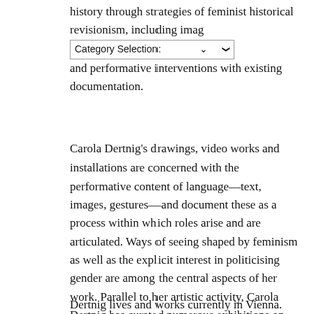history through strategies of feminist historical revisionism, including imag[Category Selection:] and performative interventions with existing documentation.
Carola Dertnig's drawings, video works and installations are concerned with the performative content of language—text, images, gestures—and document these as a process within which roles arise and are articulated. Ways of seeing shaped by feminism as well as the explicit interest in politicising gender are among the central aspects of her work. Parallel to her artistic activity, Carola Dertnig has curated numerous exhibitions on performance art and initiated the feminist network a room of one's own.
Dertnig lives and works currently in Vienna. Since